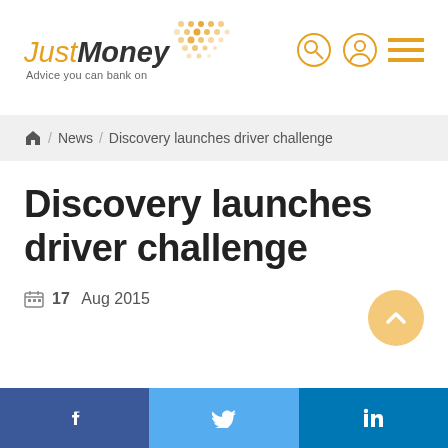[Figure (logo): JustMoney logo with tagline 'Advice you can bank on' and orange dot grid decoration]
Home / News / Discovery launches driver challenge
Discovery launches driver challenge
17 Aug 2015